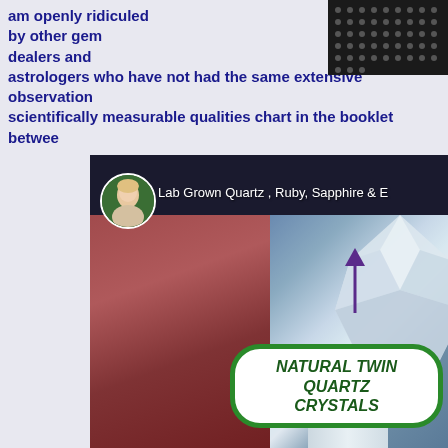am openly ridiculed by other gem dealers and astrologers who have not had the same extensive observations scientifically measurable qualities chart in the booklet between
[Figure (screenshot): A video screenshot showing a person's ear on the left side, and on the right side natural twin quartz crystals with an upward arrow pointing to them. A green oval sign reads 'NATURAL TWIN QUARTZ CRYSTALS' in bold italic green text. In the upper portion there is a profile picture of a woman with the label 'Lab Grown Quartz, Ruby, Sapphire & E...']